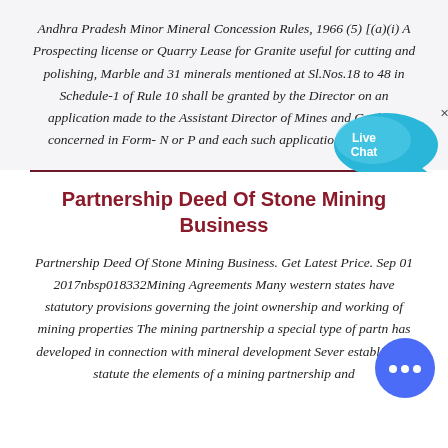Andhra Pradesh Minor Mineral Concession Rules, 1966 (5) [(a)(i) A Prospecting license or Quarry Lease for Granite useful for cutting and polishing, Marble and 31 minerals mentioned at Sl.Nos.18 to 48 in Schedule-1 of Rule 10 shall be granted by the Director on an application made to the Assistant Director of Mines and Geology concerned in Form-N or P and each such application shall be ...
[Figure (illustration): Live Chat speech bubble icon in cyan/blue]
Partnership Deed Of Stone Mining Business
Partnership Deed Of Stone Mining Business. Get Latest Price. Sep 01 2017nbsp018332Mining Agreements Many western states have statutory provisions governing the joint ownership and working of mining properties The mining partnership a special type of partnership has developed in connection with mineral development Several states establish by statute the elements of a mining partnership and...
[Figure (illustration): Blue circular chat button with ellipsis icon]